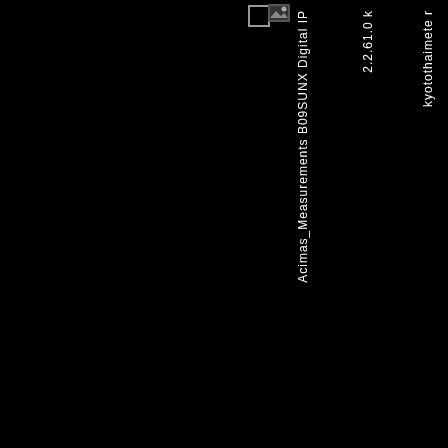[Figure (screenshot): Dark/black background UI screenshot showing a table or list interface with rotated column text. Three visible columns contain rotated text: first column reads 'Acimas_Measurements B09SUNX Digital IP', second column reads '2.2.61.0 k', third column reads 'kyotothaimete r'. Small checkbox and image icon visible at top. Most of the page is black background.]